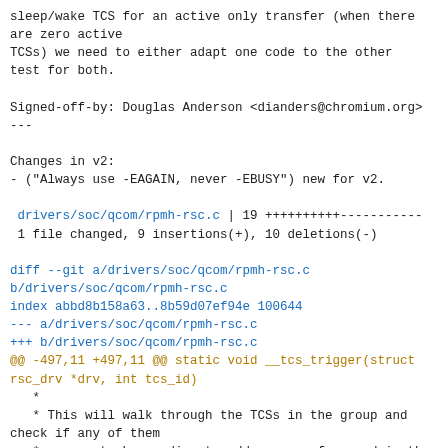sleep/wake TCS for an active only transfer (when there are zero active
TCSs) we need to either adapt one code to the other test for both.

Signed-off-by: Douglas Anderson <dianders@chromium.org>
---

Changes in v2:
- ("Always use -EAGAIN, never -EBUSY") new for v2.

 drivers/soc/qcom/rpmh-rsc.c | 19 ++++++++++----------
 1 file changed, 9 insertions(+), 10 deletions(-)

diff --git a/drivers/soc/qcom/rpmh-rsc.c
b/drivers/soc/qcom/rpmh-rsc.c
index abbd8b158a63..8b59d07ef94e 100644
--- a/drivers/soc/qcom/rpmh-rsc.c
+++ b/drivers/soc/qcom/rpmh-rsc.c
@@ -497,11 +497,11 @@ static void __tcs_trigger(struct rsc_drv *drv, int tcs_id)
   *
   * This will walk through the TCSs in the group and check if any of them
   * appear to be sending to addresses referenced in the message.  If it finds
-  * one it'll return -EBUSY.
+  * one it'll return -EAGAIN.
   *
   * Must be called with the drv->lock held since that